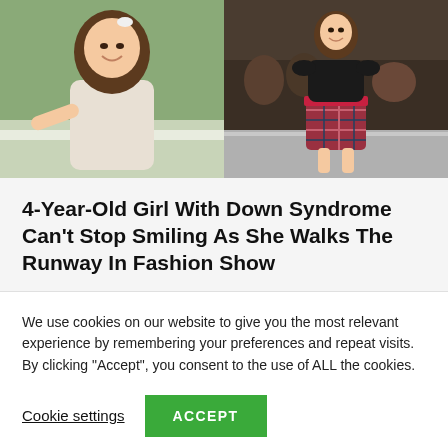[Figure (photo): Two photos side by side: left shows a young girl with Down syndrome smiling in a white dress outdoors; right shows the same girl walking a runway in a black top with red sash and plaid skirt.]
4-Year-Old Girl With Down Syndrome Can't Stop Smiling As She Walks The Runway In Fashion Show
We use cookies on our website to give you the most relevant experience by remembering your preferences and repeat visits. By clicking “Accept”, you consent to the use of ALL the cookies.
Cookie settings | ACCEPT